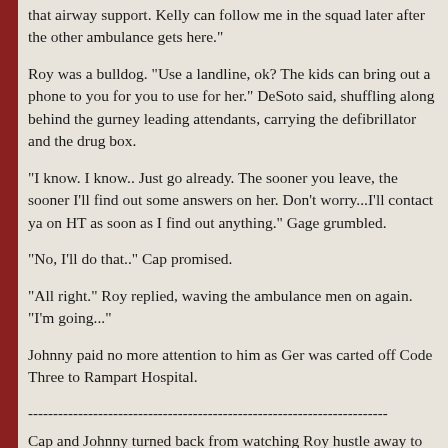that airway support. Kelly can follow me in the squad later after the other ambulance gets here."
Roy was a bulldog. "Use a landline, ok? The kids can bring out a phone to you for you to use for her." DeSoto said, shuffling along behind the gurney leading attendants, carrying the defibrillator and the drug box.
"I know. I know.. Just go already. The sooner you leave, the sooner I'll find out some answers on her. Don't worry...I'll contact ya on HT as soon as I find out anything." Gage grumbled.
"No, I'll do that.." Cap promised.
"All right." Roy replied, waving the ambulance men on again. "I'm going..."
Johnny paid no more attention to him as Ger was carted off Code Three to Rampart Hospital.
------------------------------------------------------------------------
Cap and Johnny turned back from watching Roy hustle away to find Chet inexplicably armed with a mug of steaming coffee, which he was waving underneath Dixie's